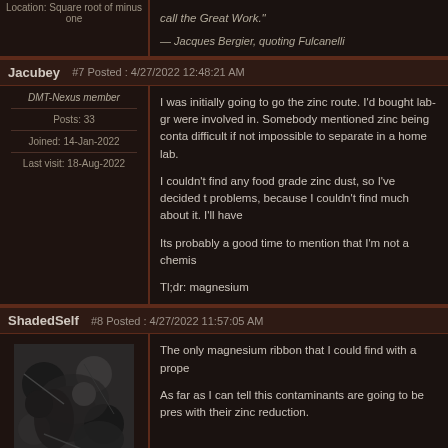Location: Square root of minus one
call the Great Work."
— Jacques Bergier, quoting Fulcanelli
Jacubey #7 Posted : 4/27/2022 12:48:21 AM
DMT-Nexus member
Posts: 33
Joined: 14-Jan-2022
Last visit: 18-Aug-2022
I was initially going to go the zinc route. I'd bought lab-gr were involved in. Somebody mentioned zinc being conta difficult if not impossible to separate in a home lab.
I couldn't find any food grade zinc dust, so I've decided t problems, because I couldn't find much about it. I'll have
Its probably a good time to mention that I'm not a chemis
Tl;dr: magnesium
ShadedSelf #8 Posted : 4/27/2022 11:57:05 AM
The only magnesium ribbon that I could find with a prope
As far as I can tell this contaminants are going to be pres with their zinc reduction.
DMT-Nexus member